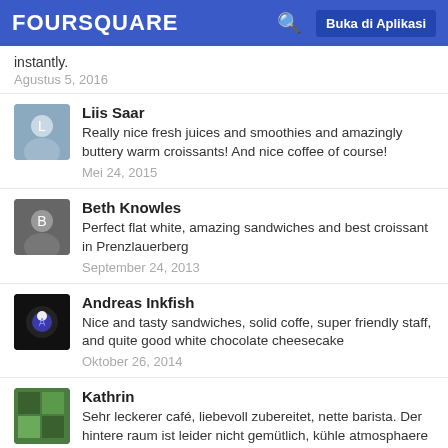FOURSQUARE | Buka di Aplikasi
instantly.
Agustus 5, 2016
Liis Saar
Really nice fresh juices and smoothies and amazingly buttery warm croissants! And nice coffee of course!
Mei 24, 2015
Beth Knowles
Perfect flat white, amazing sandwiches and best croissant in Prenzlauerberg
September 24, 2013
Andreas Inkfish
Nice and tasty sandwiches, solid coffe, super friendly staff, and quite good white chocolate cheesecake
Oktober 26, 2014
Kathrin
Sehr leckerer café, liebevoll zubereitet, nette barista. Der hintere raum ist leider nicht gemütlich, kühle atmosphaere mit grusligen bildernan der wand.
Februari 22, 2013